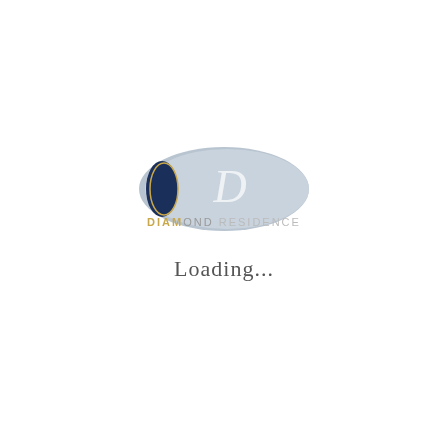[Figure (logo): Diamond Residence logo: a light blue oval/ellipse with a dark navy blue accent on the left side and a stylized italic 'D' monogram in cream/white at the center. Below the oval, text reads 'DIAMOND RESIDENCE' with 'DIAM' in gold bold letters, 'OND' in light gray, and 'RESIDENCE' in lighter gray.]
Loading...